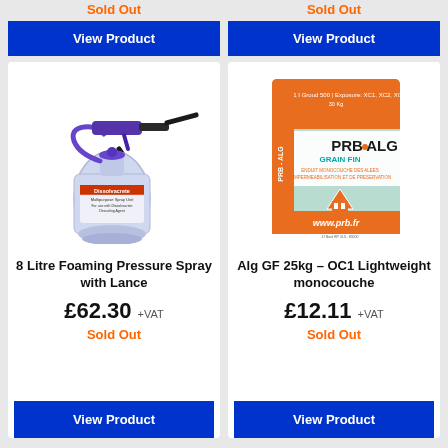Sold Out
Sold Out
View Product
View Product
[Figure (photo): 8 Litre Foaming Pressure Spray with Lance - a white plastic spray bottle with purple handle, black hose, and spray nozzle, branded Dissolvacrete]
[Figure (photo): PRB ALG GRAIN FIN 30Kg bag - orange and green/mint colored construction product bag with PRB logo and www.prb.fr]
8 Litre Foaming Pressure Spray with Lance
Alg GF 25kg – OC1 Lightweight monocouche
£62.30 +VAT
£12.11 +VAT
Sold Out
Sold Out
View Product
View Product